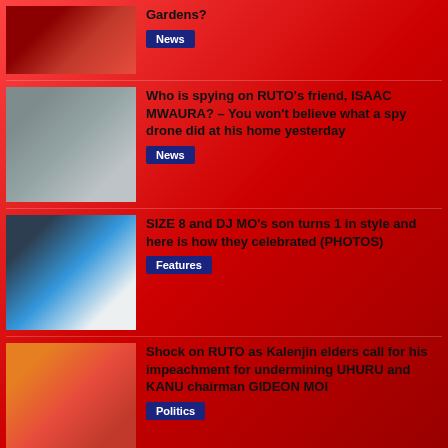[Figure (photo): Crowd of people in red clothing seated at an event]
Gardens?
News
[Figure (photo): Man in hat and red patterned shirt holding a cup outdoors]
Who is spying on RUTO's friend, ISAAC MWAURA? – You won't believe what a spy drone did at his home yesterday
News
[Figure (photo): Birthday party scene with people and decorations]
SIZE 8 and DJ MO's son turns 1 in style and here is how they celebrated (PHOTOS)
Features
[Figure (photo): Kalenjin elders in traditional attire]
Shock on RUTO as Kalenjin elders call for his impeachment for undermining UHURU and KANU chairman GIDEON MOI
Politics
[Figure (photo): Office workers at customer care desks]
Customer Care Executives Jobs in Kenya